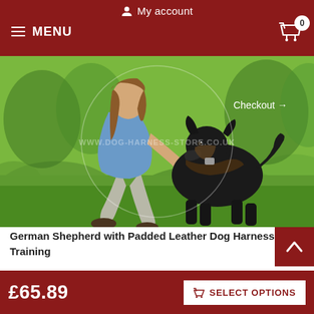My account  MENU  0
[Figure (photo): A woman crouching beside a large black dog (German Shepherd or Labrador) on green grass, with the dog wearing a leather harness. Watermark reads WWW.DOG-HARNESS-STORE.CO.UK. A 'Checkout →' link overlay is visible.]
German Shepherd with Padded Leather Dog Harness for Training
Click on the pictures to see a bigger image
£65.89
SELECT OPTIONS